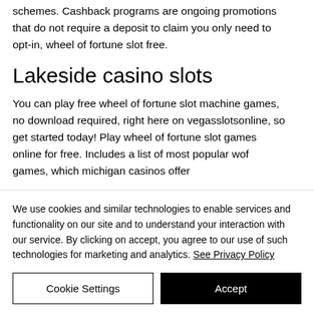schemes. Cashback programs are ongoing promotions that do not require a deposit to claim you only need to opt-in, wheel of fortune slot free.
Lakeside casino slots
You can play free wheel of fortune slot machine games, no download required, right here on vegasslotsonline, so get started today! Play wheel of fortune slot games online for free. Includes a list of most popular wof games, which michigan casinos offer
We use cookies and similar technologies to enable services and functionality on our site and to understand your interaction with our service. By clicking on accept, you agree to our use of such technologies for marketing and analytics. See Privacy Policy
Cookie Settings
Accept